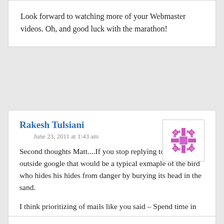Look forward to watching more of your Webmaster videos. Oh, and good luck with the marathon!
Rakesh Tulsiani
June 23, 2011 at 1:43 am
[Figure (illustration): Purple/pink decorative snowflake or geometric avatar icon]
Second thoughts Matt....If you stop replying to email outside google that would be a typical exmaple of the bird who hides his hides from danger by burying its head in the sand.

I think prioritizing of mails like you said – Spend time in best way you can. Reply to ones which you think are important be it within Google or outside.

BTW, the background in your snap is Amazing.